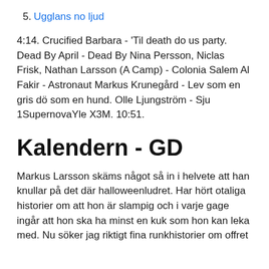5. Ugglans no ljud
4:14. Crucified Barbara - 'Til death do us party. Dead By April - Dead By Nina Persson, Niclas Frisk, Nathan Larsson (A Camp) - Colonia Salem Al Fakir - Astronaut Markus Krunegård - Lev som en gris dö som en hund. Olle Ljungström - Sju 1SupernovaYle X3M. 10:51.
Kalendern - GD
Markus Larsson skäms något så in i helvete att han knullar på det där halloweenludret. Har hört otaliga historier om att hon är slampig och i varje gage ingår att hon ska ha minst en kuk som hon kan leka med. Nu söker jag riktigt fina runkhistorier om offret